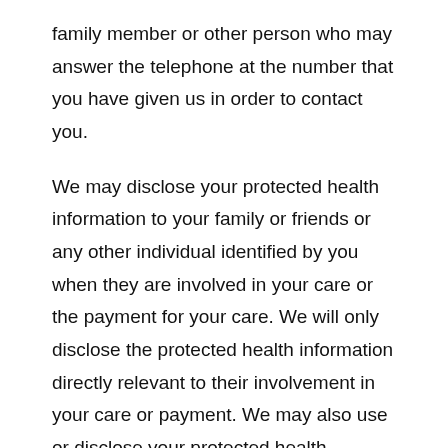family member or other person who may answer the telephone at the number that you have given us in order to contact you.
We may disclose your protected health information to your family or friends or any other individual identified by you when they are involved in your care or the payment for your care. We will only disclose the protected health information directly relevant to their involvement in your care or payment. We may also use or disclose your protected health information to notify, or assist in the notification of, a family member, a personal representative, or another person responsible for your care of your location, general condition or death. If you are available, we will give you an